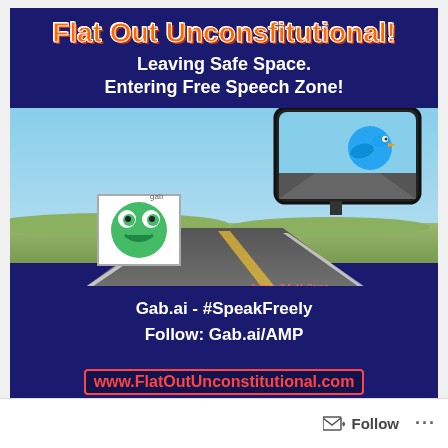[Figure (illustration): Social media graphic for 'Flat Out Unconsfitutional!' featuring a car dashboard view of an open road with a rearview mirror showing a Twitter bird cartoon being left behind, a Gab frog logo on the road, navy blue background with title text, subtitle, Gab.ai social links, and website URL. Twitter credit: @A_M_Perez.]
Follow  ···